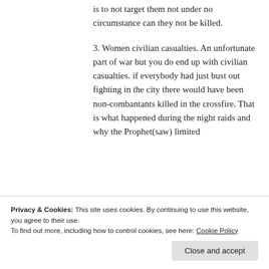is to not target them not under no circumstance can they not be killed.
3. Women civilian casualties. An unfortunate part of war but you do end up with civilian casualties. if everybody had just bust out fighting in the city there would have been non-combantants killed in the crossfire. That is what happened during the night raids and why the Prophet(saw) limited
Privacy & Cookies: This site uses cookies. By continuing to use this website, you agree to their use.
To find out more, including how to control cookies, see here: Cookie Policy